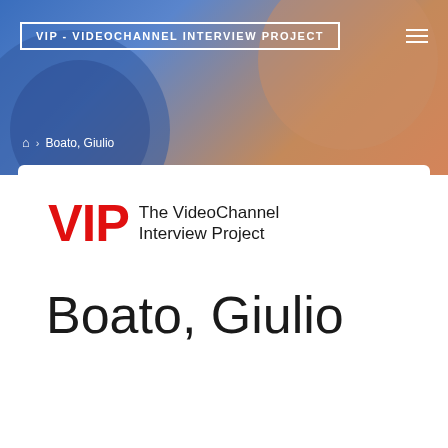VIP - VIDEOCHANNEL INTERVIEW PROJECT
⌂ › Boato, Giulio
[Figure (logo): VIP - The VideoChannel Interview Project logo with red bold VIP text and black subtitle]
Boato, Giulio